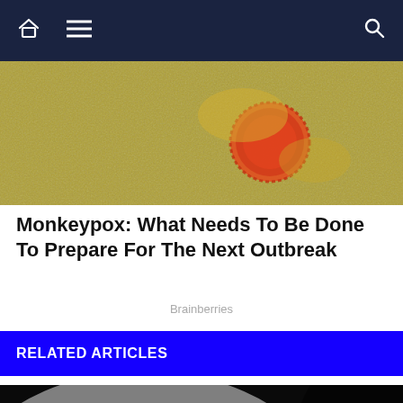Navigation bar with home icon, hamburger menu, and search icon
[Figure (photo): Close-up microscope image of a monkeypox virus particle on a textured golden/green surface, showing a round red-orange virus particle]
Monkeypox: What Needs To Be Done To Prepare For The Next Outbreak
Brainberries
RELATED ARTICLES
[Figure (photo): Black and white dramatic photo of the Airbus logo/lettering, showing large bold letters AIRBUS partially visible against a dark background with dramatic lighting]